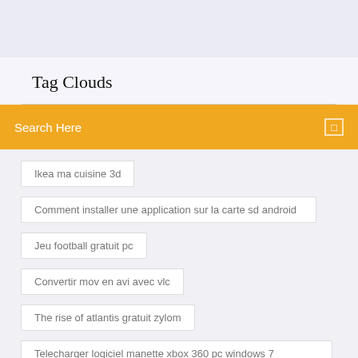Tag Clouds
Search Here
Ikea ma cuisine 3d
Comment installer une application sur la carte sd android
Jeu football gratuit pc
Convertir mov en avi avec vlc
The rise of atlantis gratuit zylom
Telecharger logiciel manette xbox 360 pc windows 7